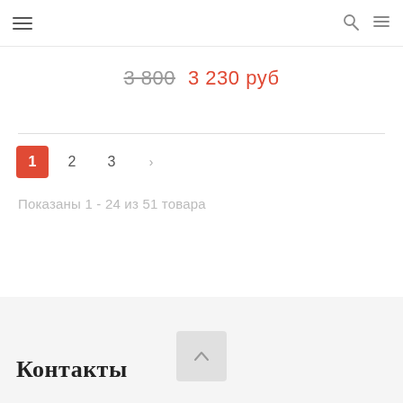Navigation bar with hamburger menu, search icon, and list icon
3 800  3 230 руб
Показаны 1 - 24 из 51 товара
Контакты